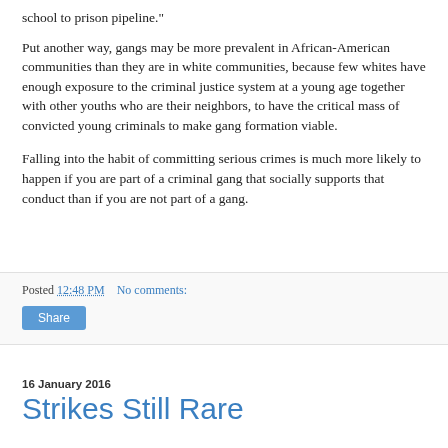school to prison pipeline."
Put another way, gangs may be more prevalent in African-American communities than they are in white communities, because few whites have enough exposure to the criminal justice system at a young age together with other youths who are their neighbors, to have the critical mass of convicted young criminals to make gang formation viable.
Falling into the habit of committing serious crimes is much more likely to happen if you are part of a criminal gang that socially supports that conduct than if you are not part of a gang.
Posted 12:48 PM   No comments:
Share
16 January 2016
Strikes Still Rare